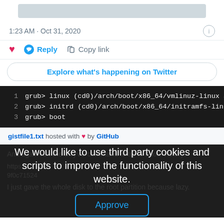[Figure (screenshot): Gray placeholder bar at top of Twitter post]
1:23 AM · Oct 31, 2020
Reply  Copy link
Explore what's happening on Twitter
1   grub> linux (cd0)/arch/boot/x86_64/vmlinuz-linux a
2   grub> initrd (cd0)/arch/boot/x86_64/initramfs-linu
3   grub> boot
gistfile1.txt hosted with ♥ by GitHub
And again run the `bhyve` command to try to boot. Victory!
http... ...482
9f0c71524
I just gave the whole disk to the root partition because lazy.
We would like to use third party cookies and scripts to improve the functionality of this website.
Approve